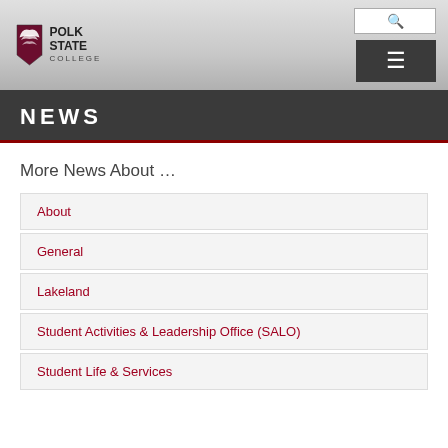[Figure (logo): Polk State College logo with eagle mascot and text]
NEWS
More News About …
About
General
Lakeland
Student Activities & Leadership Office (SALO)
Student Life & Services